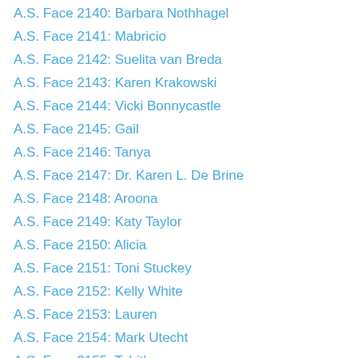A.S. Face 2140: Barbara Nothhagel
A.S. Face 2141: Mabricio
A.S. Face 2142: Suelita van Breda
A.S. Face 2143: Karen Krakowski
A.S. Face 2144: Vicki Bonnycastle
A.S. Face 2145: Gail
A.S. Face 2146: Tanya
A.S. Face 2147: Dr. Karen L. De Brine
A.S. Face 2148: Aroona
A.S. Face 2149: Katy Taylor
A.S. Face 2150: Alicia
A.S. Face 2151: Toni Stuckey
A.S. Face 2152: Kelly White
A.S. Face 2153: Lauren
A.S. Face 2154: Mark Utecht
A.S. Face 2155: Tabitha
A.S. Face 2156: Alexandre
A.S. Face 2157: Mellisa Stahl
A.S. Face 2158: Casey Morrison
A.S. Face 2159: Scott Brauer